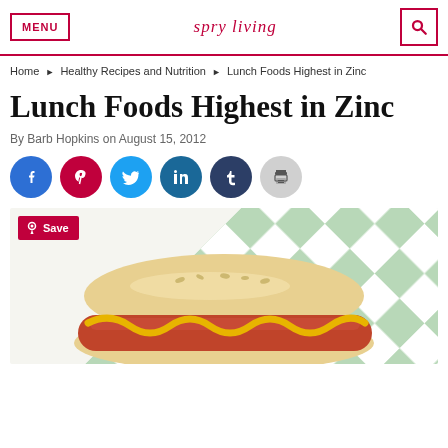MENU | spry living | [search]
Home ▶ Healthy Recipes and Nutrition ▶ Lunch Foods Highest in Zinc
Lunch Foods Highest in Zinc
By Barb Hopkins on August 15, 2012
[Figure (infographic): Social sharing buttons: Facebook, Pinterest, Twitter, LinkedIn, Tumblr, Print]
[Figure (photo): A hot dog with mustard on a green and white checkered background, with a Pinterest Save badge overlay]